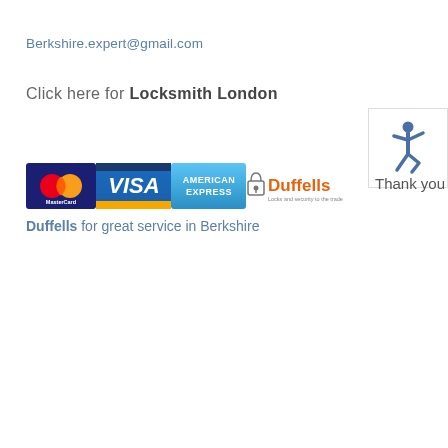Berkshire.expert@gmail.com
Click here for Locksmith London
[Figure (logo): Accessibility symbol icon in blue inside a white box with border]
[Figure (logo): MasterCard, VISA, American Express payment logos followed by Duffells Locks and security to the trade logo, with text 'Thank you']
Duffells for great service in Berkshire